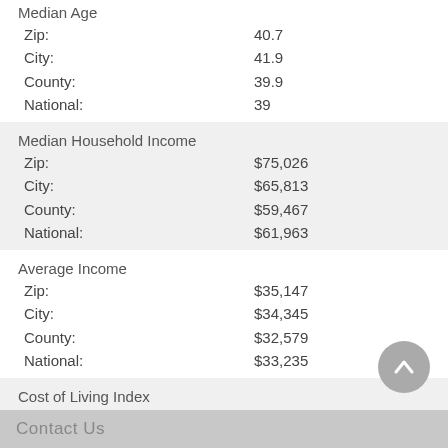Median Age
|  |  |
| --- | --- |
| Zip: | 40.7 |
| City: | 41.9 |
| County: | 39.9 |
| National: | 39 |
Median Household Income
|  |  |
| --- | --- |
| Zip: | $75,026 |
| City: | $65,813 |
| County: | $59,467 |
| National: | $61,963 |
Average Income
|  |  |
| --- | --- |
| Zip: | $35,147 |
| City: | $34,345 |
| County: | $32,579 |
| National: | $33,235 |
Cost of Living Index
|  |  |
| --- | --- |
| Zip: | 100 |
| City: | 91 |
Contact Us